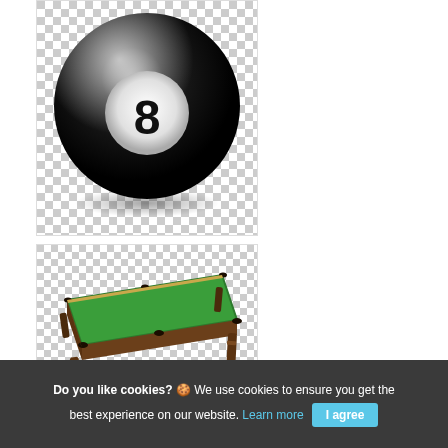[Figure (illustration): A black billiard 8-ball with a white circle and the number 8, shown on a checkered transparent background with a shadow beneath it.]
[Figure (photo): A green-felt billiard/snooker table with wooden frame and legs, shown on a checkered transparent background.]
Do you like cookies? 🍪 We use cookies to ensure you get the best experience on our website. Learn more  I agree